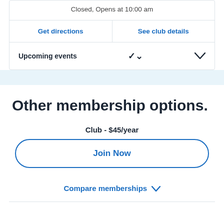Closed, Opens at 10:00 am
Get directions
See club details
Upcoming events
Other membership options.
Club - $45/year
Join Now
Compare memberships